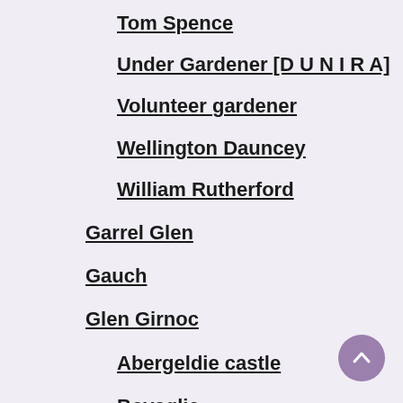Tom Spence
Under Gardener [D U N I R A]
Volunteer gardener
Wellington Dauncey
William Rutherford
Garrel Glen
Gauch
Glen Girnoc
Abergeldie castle
Bovaglie